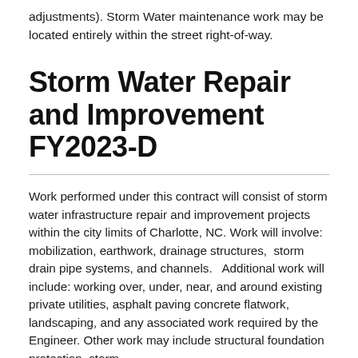adjustments).  Storm Water maintenance work may be located entirely within the street right-of-way.
Storm Water Repair and Improvement FY2023-D
Work performed under this contract will consist of storm water infrastructure repair and improvement projects within the city limits of Charlotte, NC.  Work will involve: mobilization, earthwork, drainage structures,  storm drain pipe systems, and channels.   Additional work will include: working over, under, near, and around existing private utilities, asphalt paving concrete flatwork, landscaping, and any associated work required by the Engineer.  Other work may include structural foundation protection, storm